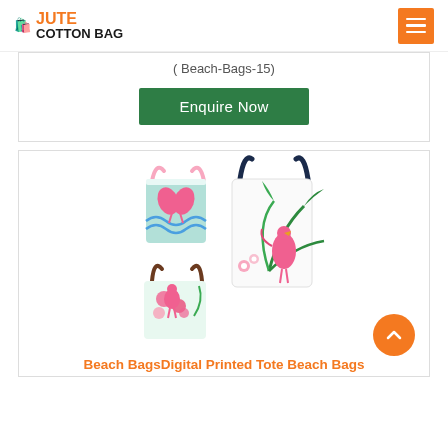JUTE COTTON BAG
( Beach-Bags-15)
Enquire Now
[Figure (photo): Three flamingo-printed tote beach bags on white background - one pink handle with flamingo heart design, one with floral flamingo pattern, and one large bag with tropical palm leaves and flamingo print]
Beach BagsDigital Printed Tote Beach Bags